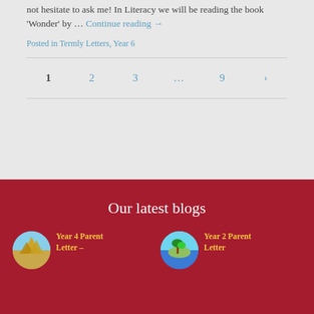not hesitate to ask me!  In Literacy we will be reading the book 'Wonder'  by … Continue reading →
Posted in Termly Letters, Year 6
1   2   3   …   9   >
Our latest blogs
Year 4 Parent Letter –
Year 2 Parent Letter